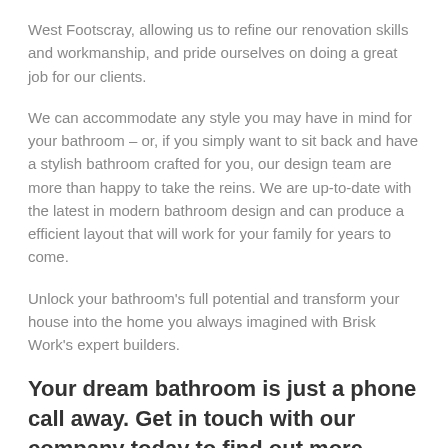West Footscray, allowing us to refine our renovation skills and workmanship, and pride ourselves on doing a great job for our clients.
We can accommodate any style you may have in mind for your bathroom – or, if you simply want to sit back and have a stylish bathroom crafted for you, our design team are more than happy to take the reins. We are up-to-date with the latest in modern bathroom design and can produce a efficient layout that will work for your family for years to come.
Unlock your bathroom's full potential and transform your house into the home you always imagined with Brisk Work's expert builders.
Your dream bathroom is just a phone call away. Get in touch with our company today to find out more about our renovations!